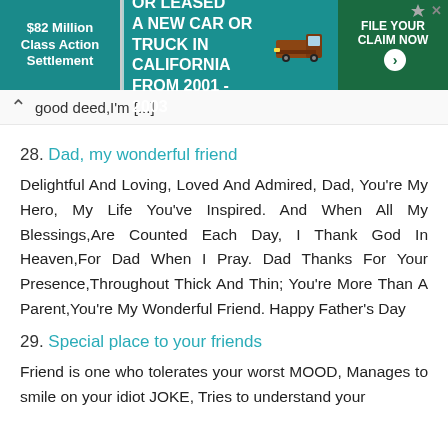[Figure (screenshot): Advertisement banner: $82 Million Class Action Settlement - If you bought or leased a new car or truck in California from 2001-2003. File Your Claim Now.]
good deed,I'm [...]
28. Dad, my wonderful friend
Delightful And Loving, Loved And Admired, Dad, You're My Hero, My Life You've Inspired. And When All My Blessings,Are Counted Each Day, I Thank God In Heaven,For Dad When I Pray. Dad Thanks For Your Presence,Throughout Thick And Thin; You're More Than A Parent,You're My Wonderful Friend. Happy Father's Day
29. Special place to your friends
Friend is one who tolerates your worst MOOD, Manages to smile on your idiot JOKE, Tries to understand your